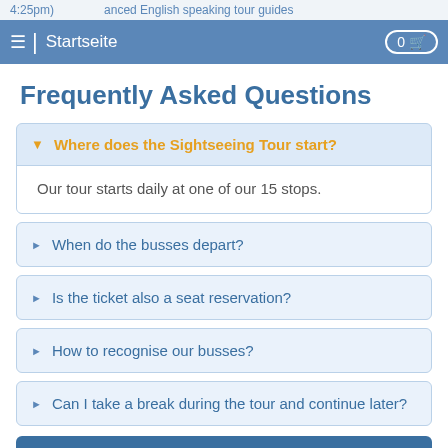≡ | Startseite  0 🛒
Frequently Asked Questions
▼ Where does the Sightseeing Tour start?
Our tour starts daily at one of our 15 stops.
▶ When do the busses depart?
▶ Is the ticket also a seat reservation?
▶ How to recognise our busses?
▶ Can I take a break during the tour and continue later?
Timetable
Request